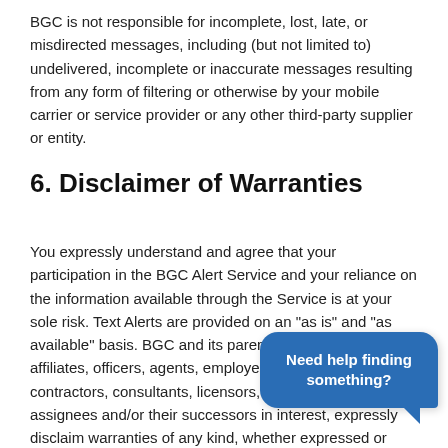BGC is not responsible for incomplete, lost, late, or misdirected messages, including (but not limited to) undelivered, incomplete or inaccurate messages resulting from any form of filtering or otherwise by your mobile carrier or service provider or any other third-party supplier or entity.
6. Disclaimer of Warranties
You expressly understand and agree that your participation in the BGC Alert Service and your reliance on the information available through the Service is at your sole risk. Text Alerts are provided on an "as is" and "as available" basis. BGC and its parents, subsidiaries, affiliates, officers, agents, employees, partners, contractors, consultants, licensors, suppliers or their assignees and/or their successors in interest, expressly disclaim warranties of any kind, whether expressed or implied, including but not limited to the implied warranties of merchantability, fitness for a particular purpose and non-infringement. BGC and its
[Figure (other): Blue chat bubble overlay with text 'Need help finding something?']